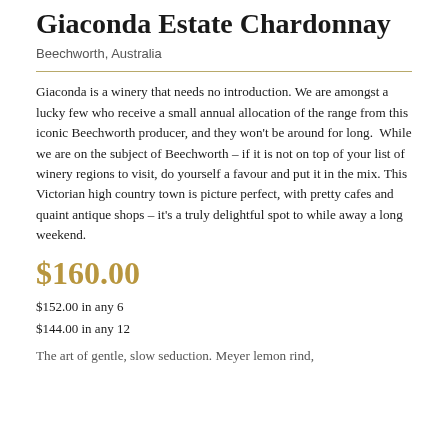Giaconda Estate Chardonnay
Beechworth, Australia
Giaconda is a winery that needs no introduction. We are amongst a lucky few who receive a small annual allocation of the range from this iconic Beechworth producer, and they won't be around for long. While we are on the subject of Beechworth – if it is not on top of your list of winery regions to visit, do yourself a favour and put it in the mix. This Victorian high country town is picture perfect, with pretty cafes and quaint antique shops – it's a truly delightful spot to while away a long weekend.
$160.00
$152.00 in any 6
$144.00 in any 12
The art of gentle, slow seduction. Meyer lemon rind,